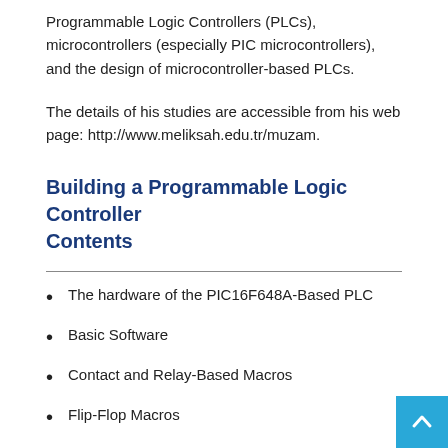Programmable Logic Controllers (PLCs), microcontrollers (especially PIC microcontrollers), and the design of microcontroller-based PLCs.
The details of his studies are accessible from his web page: http://www.meliksah.edu.tr/muzam.
Building a Programmable Logic Controller Contents
The hardware of the PIC16F648A-Based PLC
Basic Software
Contact and Relay-Based Macros
Flip-Flop Macros